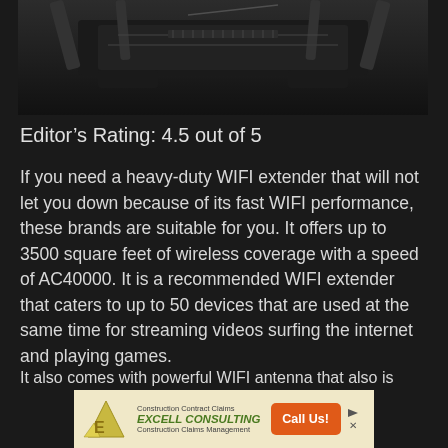[Figure (photo): Partial view of a black gaming WiFi router/extender with angular design elements, antennas visible at top, on white background]
Editor’s Rating: 4.5 out of 5
If you need a heavy-duty WIFI extender that will not let you down because of its fast WIFI performance, these brands are suitable for you. It offers up to 3500 square feet of wireless coverage with a speed of AC40000. It is a recommended WIFI extender that caters to up to 50 devices that are used at the same time for streaming videos surfing the internet and playing games.
[Figure (other): Advertisement banner for Excell Consulting - Construction Contract Claims and Construction Claims Management with Call Us button]